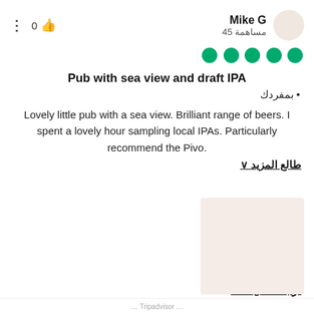⋮  0 👍
Mike G
45 مساهمة
[Figure (other): Five green filled circles representing a 5-bubble rating]
Pub with sea view and draft IPA
• بمفردك
Lovely little pub with a sea view. Brilliant range of beers. I spent a lovely hour sampling local IPAs. Particularly recommend the Pivo.
طالع المزيد ∨
[Figure (photo): A light pinkish-beige placeholder image rectangle]
ترجمة Google
كُتب بتاريخ 22 أبريل 2022
Tripadvisor ...